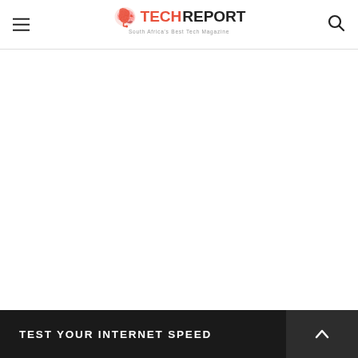TECHREPORT — South Africa's Best Tech Magazine
[Figure (other): Large white blank content area, likely an advertisement or embedded widget that did not load]
TEST YOUR INTERNET SPEED